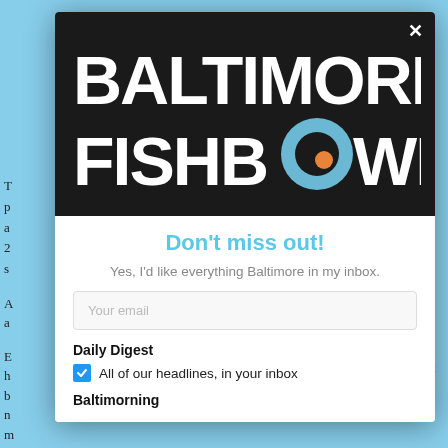[Figure (screenshot): Screenshot of Baltimore Fishbowl website with a newsletter signup modal overlay. The modal shows the Baltimore Fishbowl logo on a dark background, a 'Don't miss out!' heading in light blue, a subtitle 'Yes, I'd like everything Baltimore in my inbox.', an email input field, a checked checkbox for 'Daily Digest' with text 'All of our headlines, in your inbox', and a 'Baltimorning' section label.]